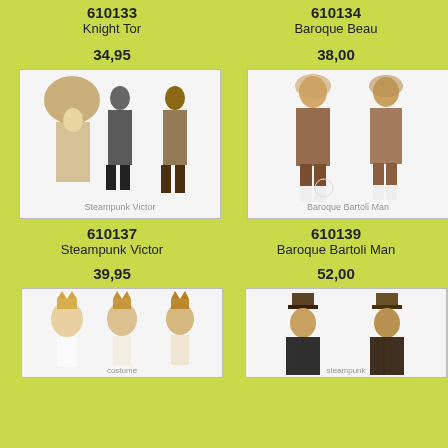610133
610134
Knight Tor
Baroque Beau
34,95
38,00
[Figure (photo): Steampunk Victor costume showing multiple views of the outfit]
[Figure (photo): Baroque Bartoli Man costume showing front and back views]
610137
610139
Steampunk Victor
Baroque Bartoli Man
39,95
52,00
[Figure (photo): Costume showing king/medieval style with crown, partial view at bottom of page]
[Figure (photo): Steampunk style costume with top hat, partial view at bottom of page]